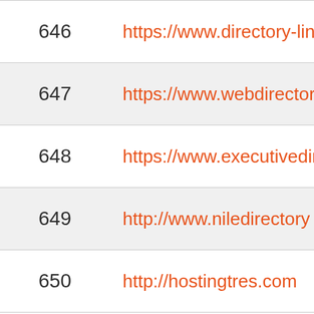| # | URL |
| --- | --- |
| 646 | https://www.directory-lin |
| 647 | https://www.webdirectoryl |
| 648 | https://www.executivedirecto |
| 649 | http://www.niledirectory |
| 650 | http://hostingtres.com |